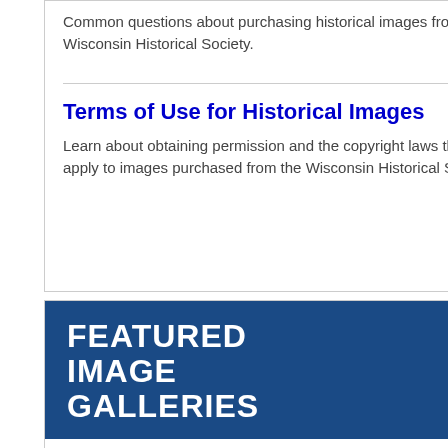Common questions about purchasing historical images from the Wisconsin Historical Society.
Terms of Use for Historical Images
Learn about obtaining permission and the copyright laws that apply to images purchased from the Wisconsin Historical Society.
[Figure (other): Blue banner with white bold text reading FEATURED IMAGE GALLERIES]
William Donahey's Teenie Weenies - Image